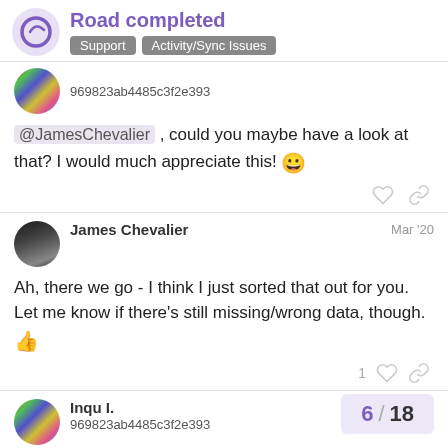Road completed | Support | Activity/Sync Issues
969823ab4485c3f2e393
@JamesChevalier , could you maybe have a look at that? I would much appreciate this! 😀
James Chevalier  Mar '20
Ah, there we go - I think I just sorted that out for you. Let me know if there's still missing/wrong data, though. 👍
Inqu I.  Mar '20
969823ab4485c3f2e393
6 / 18